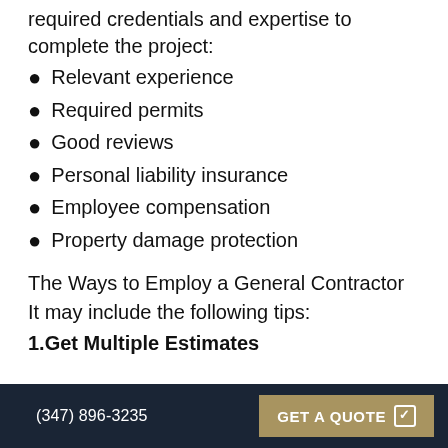required credentials and expertise to complete the project:
Relevant experience
Required permits
Good reviews
Personal liability insurance
Employee compensation
Property damage protection
The Ways to Employ a General Contractor
It may include the following tips:
1.Get Multiple Estimates
(347) 896-3235   GET A QUOTE